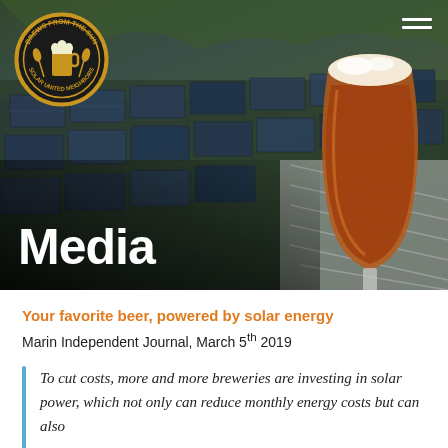[Figure (photo): Hero image showing solar panels on a rooftop with a glass of amber beer in the foreground, and the 'Brews From The Sun - Solar United Neighbors' circular logo in the top left corner. A hamburger menu icon is in the top right.]
Media
Your favorite beer, powered by solar energy
Marin Independent Journal, March 5th 2019
To cut costs, more and more breweries are investing in solar power, which not only can reduce monthly energy costs but can also